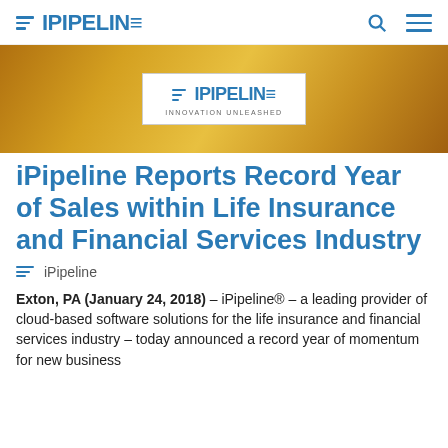iPipeline
[Figure (logo): iPipeline hero banner with logo box containing iPipeline logo and INNOVATION UNLEASHED tagline on golden yellow background]
iPipeline Reports Record Year of Sales within Life Insurance and Financial Services Industry
iPipeline
Exton, PA (January 24, 2018) – iPipeline® – a leading provider of cloud-based software solutions for the life insurance and financial services industry – today announced a record year of momentum for new business